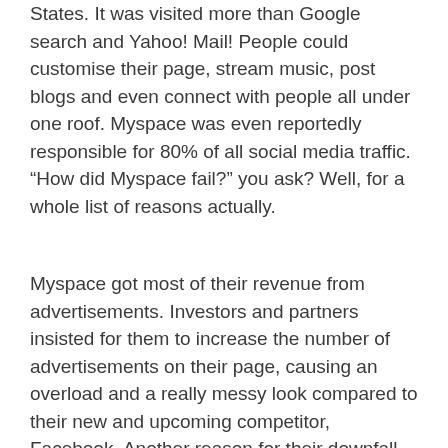States. It was visited more than Google search and Yahoo! Mail! People could customise their page, stream music, post blogs and even connect with people all under one roof. Myspace was even reportedly responsible for 80% of all social media traffic. “How did Myspace fail?” you ask? Well, for a whole list of reasons actually.
Myspace got most of their revenue from advertisements. Investors and partners insisted for them to increase the number of advertisements on their page, causing an overload and a really messy look compared to their new and upcoming competitor, Facebook. Another reason for their downfall was their management.